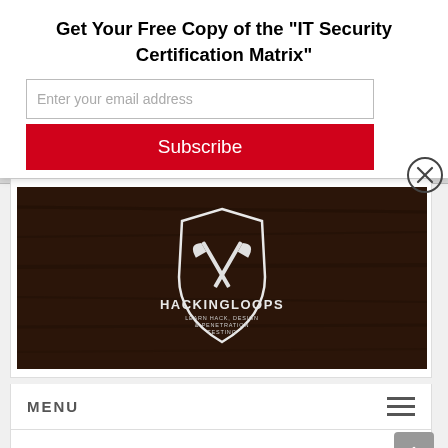Get Your Free Copy of the "IT Security Certification Matrix"
Enter your email address
Subscribe
[Figure (logo): HackingLoops logo on dark wood background — shield emblem with crossed axes, text HACKINGLOOPS]
MENU
How to Perform Penetration testing using